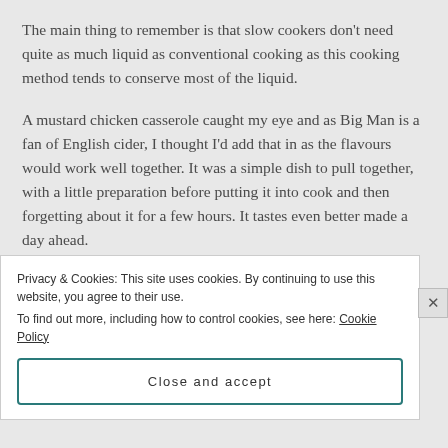The main thing to remember is that slow cookers don't need quite as much liquid as conventional cooking as this cooking method tends to conserve most of the liquid.
A mustard chicken casserole caught my eye and as Big Man is a fan of English cider, I thought I'd add that in as the flavours would work well together. It was a simple dish to pull together, with a little preparation before putting it into cook and then forgetting about it for a few hours. It tastes even better made a day ahead.
Privacy & Cookies: This site uses cookies. By continuing to use this website, you agree to their use. To find out more, including how to control cookies, see here: Cookie Policy
Close and accept